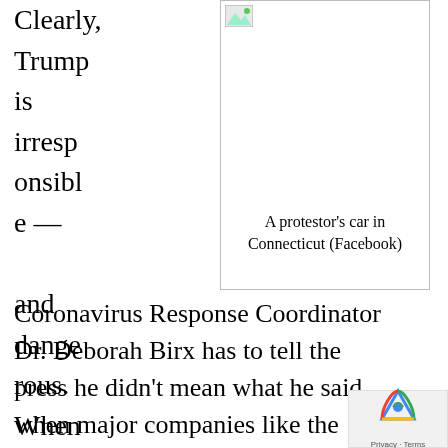Clearly, Trump is irresponsible — and dangerous. When the
[Figure (photo): A protestor's car in Connecticut (Facebook)]
A protestor's car in Connecticut (Facebook)
Coronavirus Response Coordinator Dr. Deborah Birx has to tell the press he didn't mean what he said, when major companies like the makers of Lysol have to release a statement that says, "As a